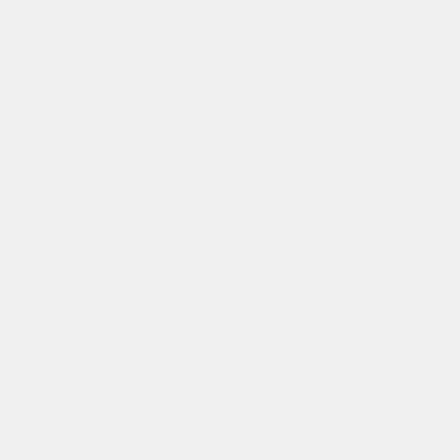Coalition to deliver a giant “Valentine Card” with the Budget for All Referendum results as a “gift” to the offices of U.S. Senators